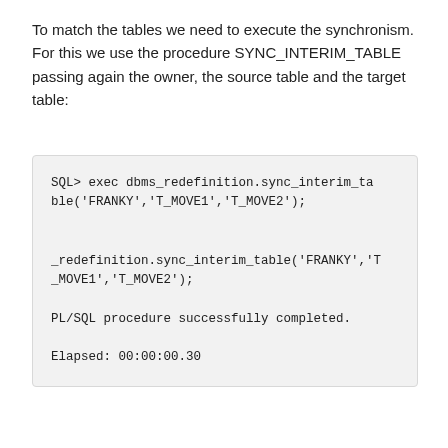To match the tables we need to execute the synchronism. For this we use the procedure SYNC_INTERIM_TABLE passing again the owner, the source table and the target table:
SQL> exec dbms_redefinition.sync_interim_table('FRANKY','T_MOVE1','T_MOVE2');

_redefinition.sync_interim_table('FRANKY','T_MOVE1','T_MOVE2');

PL/SQL procedure successfully completed.

Elapsed: 00:00:00.30